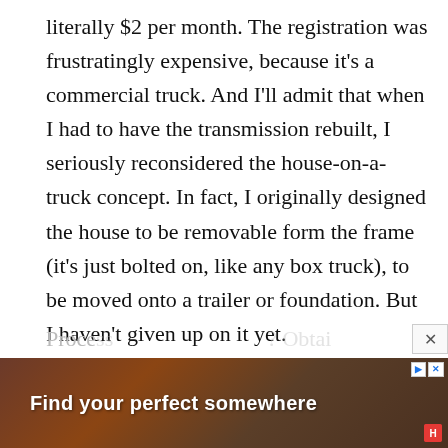literally $2 per month. The registration was frustratingly expensive, because it's a commercial truck. And I'll admit that when I had to have the transmission rebuilt, I seriously reconsidered the house-on-a-truck concept. In fact, I originally designed the house to be removable form the frame (it's just bolted on, like any box truck), to be moved onto a trailer or foundation. But I haven't given up on it yet.

Re: “relying on other people for power and water, sewer.” Most of us rely on other people for these things every day. Do you generate 100% of your own power?
Proce... spring... g on
[Figure (other): Advertisement banner: 'Find your perfect somewhere' with dark reddish-brown background showing outdoor/nature scene, with navigation controls (play/close buttons) and logo.]